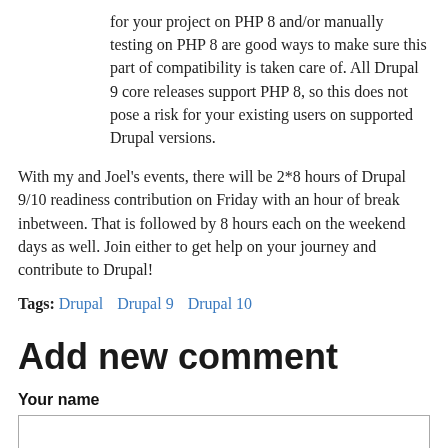for your project on PHP 8 and/or manually testing on PHP 8 are good ways to make sure this part of compatibility is taken care of. All Drupal 9 core releases support PHP 8, so this does not pose a risk for your existing users on supported Drupal versions.
With my and Joel’s events, there will be 2*8 hours of Drupal 9/10 readiness contribution on Friday with an hour of break inbetween. That is followed by 8 hours each on the weekend days as well. Join either to get help on your journey and contribute to Drupal!
Tags: Drupal  Drupal 9  Drupal 10
Add new comment
Your name
E-mail